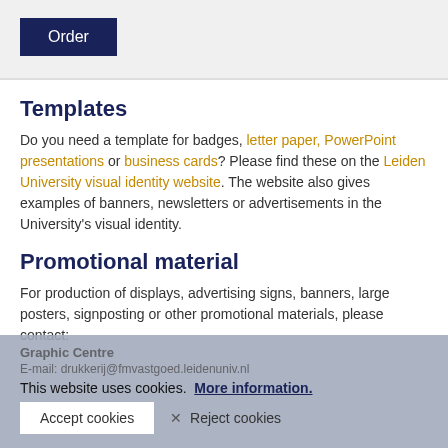[Figure (other): Dark navy blue Order button on grey background]
Templates
Do you need a template for badges, letter paper, PowerPoint presentations or business cards? Please find these on the Leiden University visual identity website. The website also gives examples of banners, newsletters or advertisements in the University's visual identity.
Promotional material
For production of displays, advertising signs, banners, large posters, signposting or other promotional materials, please contact:
Graphic Centre
This website uses cookies. More information.
Accept cookies   ✕ Reject cookies